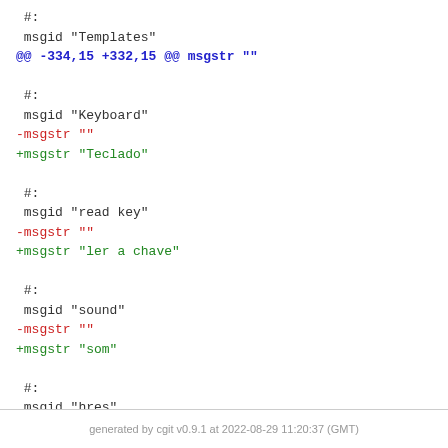#:
 msgid "Templates"
@@ -334,15 +332,15 @@ msgstr ""

 #:
 msgid "Keyboard"
-msgstr ""
+msgstr "Teclado"

 #:
 msgid "read key"
-msgstr ""
+msgstr "ler a chave"

 #:
 msgid "sound"
-msgstr ""
+msgstr "som"

 #:
 msgid "hres"
@@ -351,4 +349,3 @@ msgstr ""
 #:
 msgid "vres"
 msgstr ""
-
generated by cgit v0.9.1 at 2022-08-29 11:20:37 (GMT)